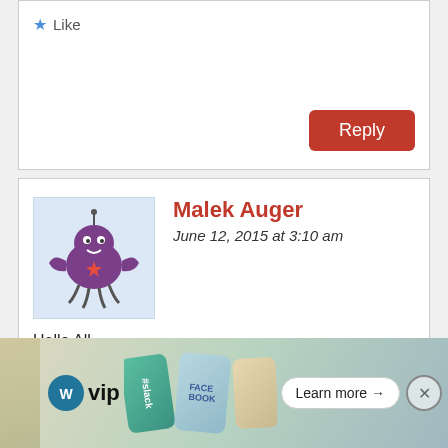[Figure (other): Like button with star icon]
[Figure (other): Red Reply button]
[Figure (illustration): Avatar illustration of a purple cartoon crab-like character on light blue background]
Malek Auger
June 12, 2015 at 3:10 am
Hello All
I think the rebels are so lairs to instant that they believed their own liars, Dr Reik did not went to South Africa for a submit or any head of states meeting, the Dr Reik was lifted for his sickness, the guy is very sick with an eye cancer
Advertisements
[Figure (screenshot): WordPress VIP advertisement banner with slack and Facebook card imagery and Learn more button]